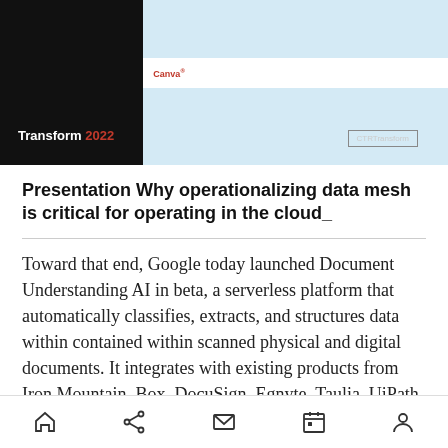[Figure (screenshot): Screenshot of a presentation slide titled 'Transform 2022' with dark left panel and light blue right panel, showing a logo area and CTRTransform button]
Presentation Why operationalizing data mesh is critical for operating in the cloud_
Toward that end, Google today launched Document Understanding AI in beta, a serverless platform that automatically classifies, extracts, and structures data within contained within scanned physical and digital documents. It integrates with existing products from Iron Mountain, Box, DocuSign, Egnyte, Taulia, UiPath,
Navigation bar with home, share, mail, calendar, and profile icons